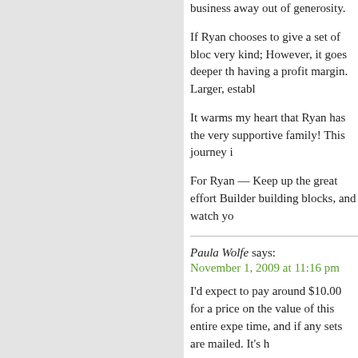business away out of generosity.
If Ryan chooses to give a set of bloc very kind; However, it goes deeper th having a profit margin. Larger, establ
It warms my heart that Ryan has the very supportive family! This journey i
For Ryan — Keep up the great effort Builder building blocks, and watch yo
Paula Wolfe says:
November 1, 2009 at 11:16 pm
I'd expect to pay around $10.00 for a price on the value of this entire expe time, and if any sets are mailed. It's h
Ethan says:
November 3, 2009 at 9:38 am
This is a pretty cool project/business
I think Paula nailed it with the price p